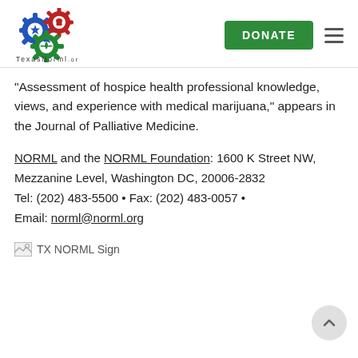[Figure (logo): TexasNorml.org logo with three interlocking gears (blue, red, green) and cannabis leaf; text 'TexasNorml.org' below]
DONATE button and hamburger menu icon
“Assessment of hospice health professional knowledge, views, and experience with medical marijuana,” appears in the Journal of Palliative Medicine.
NORML and the NORML Foundation: 1600 K Street NW, Mezzanine Level, Washington DC, 20006-2832
Tel: (202) 483-5500 • Fax: (202) 483-0057 • Email: norml@norml.org
[Figure (photo): TX NORML Sign image (broken image placeholder shown)]